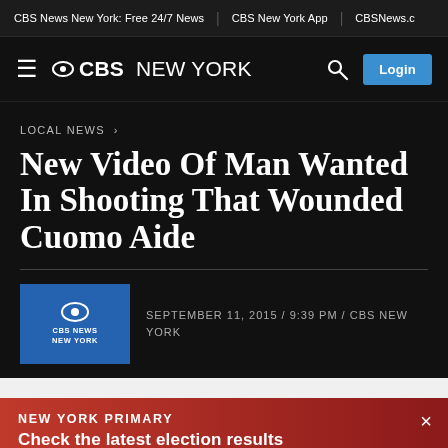CBS News New York: Free 24/7 News | CBS New York App | CBSNews.c
≡ ⊙CBS NEW YORK  🔍  Login
LOCAL NEWS ›
New Video Of Man Wanted In Shooting That Wounded Cuomo Aide
SEPTEMBER 11, 2015 / 9:39 PM / CBS NEW YORK
[Figure (logo): CBS News New York logo thumbnail — blue square with CBS eye icon and 'NEW YORK' text]
NEW YORK PRIMARY
Check the latest election results